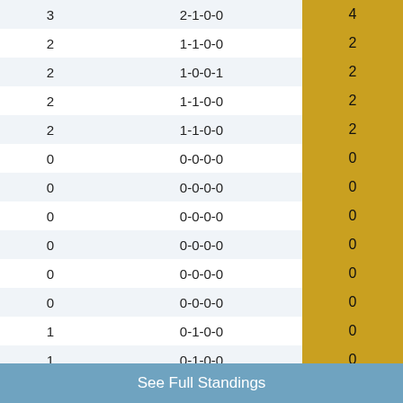| GP | W-L-OTW-OTL | PTS |
| --- | --- | --- |
| 3 | 2-1-0-0 | 4 |
| 2 | 1-1-0-0 | 2 |
| 2 | 1-0-0-1 | 2 |
| 2 | 1-1-0-0 | 2 |
| 2 | 1-1-0-0 | 2 |
| 0 | 0-0-0-0 | 0 |
| 0 | 0-0-0-0 | 0 |
| 0 | 0-0-0-0 | 0 |
| 0 | 0-0-0-0 | 0 |
| 0 | 0-0-0-0 | 0 |
| 0 | 0-0-0-0 | 0 |
| 1 | 0-1-0-0 | 0 |
| 1 | 0-1-0-0 | 0 |
| 1 | 0-1-0-0 | 0 |
| 1 | 0-1-0-0 | 0 |
| 1 | 0-1-0-0 | 0 |
| 1 | 0-1-0-0 | 0 |
| 1 | 0-1-0-0 | 0 |
| 1 | 0-1-0-0 | 0 |
See Full Standings